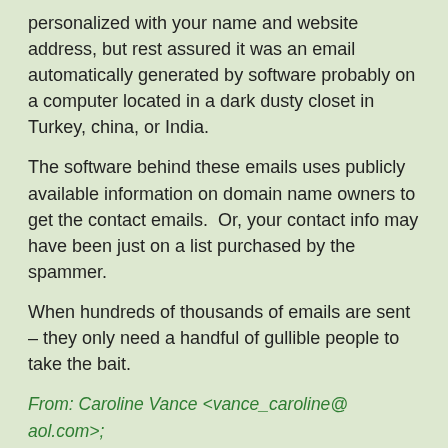personalized with your name and website address, but rest assured it was an email automatically generated by software probably on a computer located in a dark dusty closet in Turkey, china, or India.
The software behind these emails uses publicly available information on domain name owners to get the contact emails.  Or, your contact info may have been just on a list purchased by the spammer.
When hundreds of thousands of emails are sent – they only need a handful of gullible people to take the bait.
From: Caroline Vance <vance_caroline@ aol.com>;
Sent: Fri, May 29, 2020 5:38 am
Subject: Re: Website Designing
[Figure (other): Continue reading button]
1 ✓
Tags: